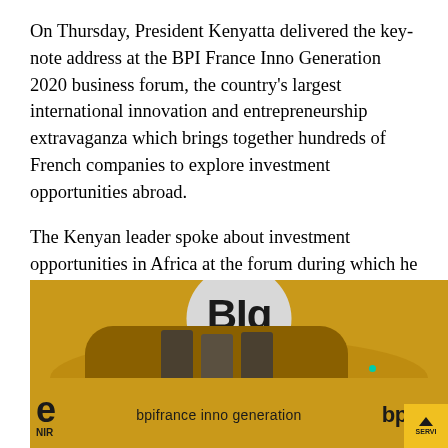On Thursday, President Kenyatta delivered the key-note address at the BPI France Inno Generation 2020 business forum, the country's largest international innovation and entrepreneurship extravaganza which brings together hundreds of French companies to explore investment opportunities abroad.
The Kenyan leader spoke about investment opportunities in Africa at the forum during which he wooed French companies to invest in Kenya.
[Figure (photo): Photo of a BPI France Inno Generation (BIG) event backdrop in yellow, showing the BIG logo in a grey circle, text 'bpifrance inno generation', bpifrance logo, and people seated at the bottom.]